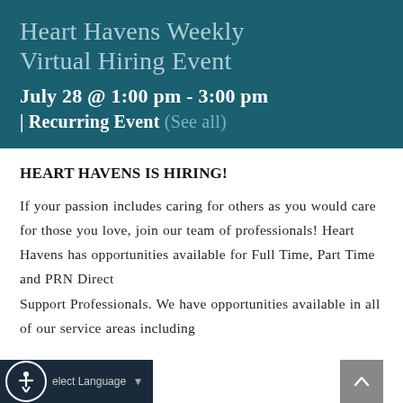Heart Havens Weekly Virtual Hiring Event
July 28 @ 1:00 pm - 3:00 pm | Recurring Event (See all)
HEART HAVENS IS HIRING!
If your passion includes caring for others as you would care for those you love, join our team of professionals! Heart Havens has opportunities available for Full Time, Part Time and PRN Direct Support Professionals. We have opportunities available in all of our service areas including